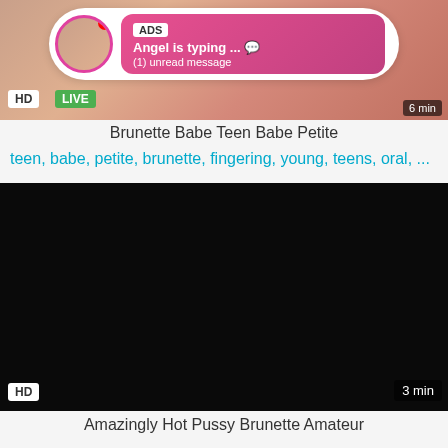[Figure (screenshot): Video thumbnail with overlay chat bubble showing ADS notification, HD and LIVE badges, duration '6 min']
Brunette Babe Teen Babe Petite
teen, babe, petite, brunette, fingering, young, teens, oral, ...
[Figure (screenshot): Black video thumbnail with HD badge and 3 min duration]
Amazingly Hot Pussy Brunette Amateur